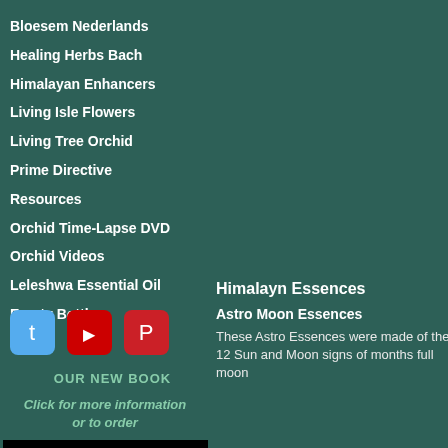Bloesem Nederlands
Healing Herbs Bach
Himalayan Enhancers
Living Isle Flowers
Living Tree Orchid
Prime Directive
Resources
Orchid Time-Lapse DVD
Orchid Videos
Leleshwa Essential Oil
Empty Bottles
[Figure (illustration): Social media icons: Twitter (blue bird), YouTube (red), Pinterest (red)]
OUR NEW BOOK
Click for more information or to order
Orchid Essence Healing
Himalayn Essences
Astro Moon Essences
These Astro Essences were made of the 12 Sun and Moon signs of months full moon